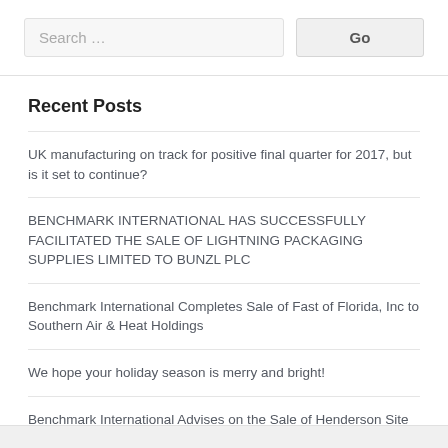Search …
Recent Posts
UK manufacturing on track for positive final quarter for 2017, but is it set to continue?
BENCHMARK INTERNATIONAL HAS SUCCESSFULLY FACILITATED THE SALE OF LIGHTNING PACKAGING SUPPLIES LIMITED TO BUNZL PLC
Benchmark International Completes Sale of Fast of Florida, Inc to Southern Air & Heat Holdings
We hope your holiday season is merry and bright!
Benchmark International Advises on the Sale of Henderson Site Services Ltd to Western Thermal Ltd